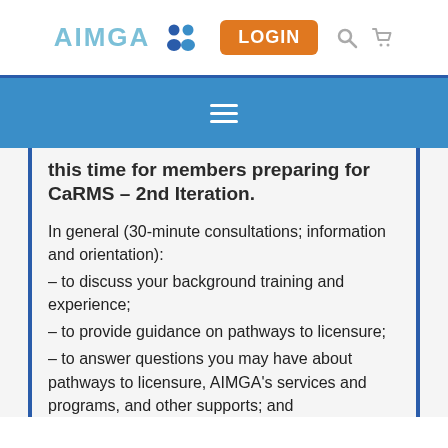[Figure (logo): AIMGA logo with people icons, LOGIN button in orange, search and cart icons in grey]
[Figure (other): Blue navigation bar with hamburger menu icon]
this time for members preparing for CaRMS – 2nd Iteration.
In general (30-minute consultations; information and orientation):
– to discuss your background training and experience;
– to provide guidance on pathways to licensure;
– to answer questions you may have about pathways to licensure, AIMGA's services and programs, and other supports; and